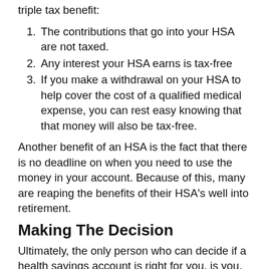triple tax benefit:
The contributions that go into your HSA are not taxed.
Any interest your HSA earns is tax-free
If you make a withdrawal on your HSA to help cover the cost of a qualified medical expense, you can rest easy knowing that that money will also be tax-free.
Another benefit of an HSA is the fact that there is no deadline on when you need to use the money in your account. Because of this, many are reaping the benefits of their HSA’s well into retirement.
Making The Decision
Ultimately, the only person who can decide if a health savings account is right for you, is you. In some cases, your employer might even offer a contribution match to your HSA account up to a